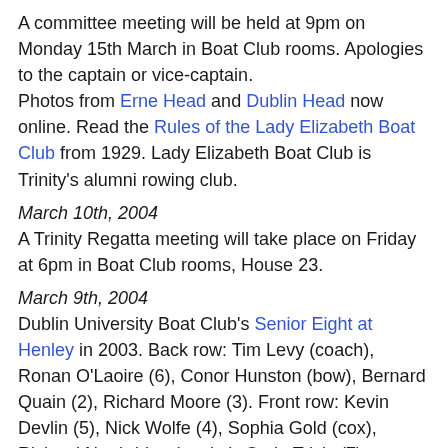A committee meeting will be held at 9pm on Monday 15th March in Boat Club rooms. Apologies to the captain or vice-captain. Photos from Erne Head and Dublin Head now online. Read the Rules of the Lady Elizabeth Boat Club from 1929. Lady Elizabeth Boat Club is Trinity's alumni rowing club.
March 10th, 2004
A Trinity Regatta meeting will take place on Friday at 6pm in Boat Club rooms, House 23.
March 9th, 2004
Dublin University Boat Club's Senior Eight at Henley in 2003. Back row: Tim Levy (coach), Ronan O'Laoire (6), Conor Hunston (bow), Bernard Quain (2), Richard Moore (3). Front row: Kevin Devlin (5), Nick Wolfe (4), Sophia Gold (cox), Richard Northridge (stroke), Ozrin Trivic (7). The index of the contents of the Boat Club archives,